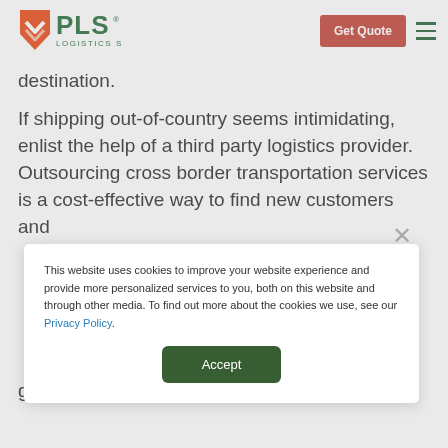[Figure (logo): PLS Logistics Services logo with orange arrow/shield icon and green PLS text]
Get Quote
destination.
If shipping out-of-country seems intimidating, enlist the help of a third party logistics provider. Outsourcing cross border transportation services is a cost-effective way to find new customers and grow your business. And with the help of a 3PL, you
This website uses cookies to improve your website experience and provide more personalized services to you, both on this website and through other media. To find out more about the cookies we use, see our Privacy Policy.
Accept